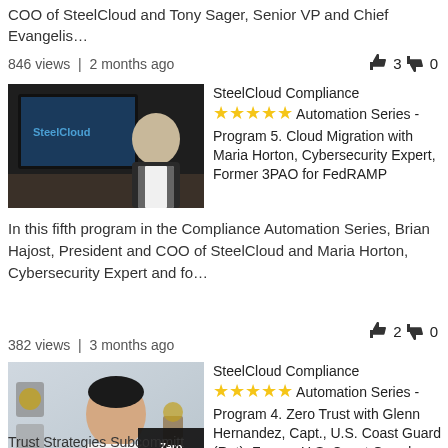COO of SteelCloud and Tony Sager, Senior VP and Chief Evangelis…
846 views  |  2 months ago
[Figure (screenshot): Thumbnail of SteelCloud video with presenter at desk in front of SteelCloud branded screen]
SteelCloud Compliance Automation Series - Program 5. Cloud Migration with Maria Horton, Cybersecurity Expert, Former 3PAO for FedRAMP
In this fifth program in the Compliance Automation Series, Brian Hajost, President and COO of SteelCloud and Maria Horton, Cybersecurity Expert and fo…
382 views  |  3 months ago
[Figure (screenshot): Thumbnail of SteelCloud video with Asian presenter in white shirt in front of light gray background, with partially visible overlay badge reading Zero Trust Strategies Subcommitt]
SteelCloud Compliance Automation Series - Program 4. Zero Trust with Glenn Hernandez, Capt., U.S. Coast Guard (Ret), Former U.S. Coast Guard CISO, Chair, AFCEA Zero Trust Strategies Subcommitt